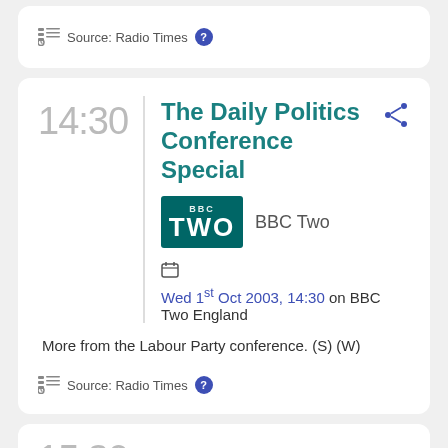Source: Radio Times
The Daily Politics Conference Special
BBC Two
Wed 1st Oct 2003, 14:30 on BBC Two England
More from the Labour Party conference. (S) (W)
Source: Radio Times
15:30